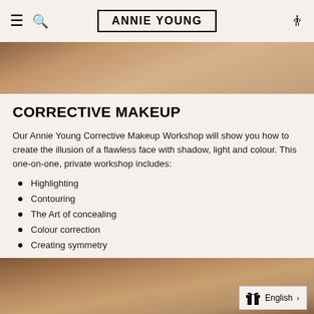ANNIE YOUNG
[Figure (photo): Partial view of a person's face/neck area with warm skin tones, cropped at top of page]
CORRECTIVE MAKEUP
Our Annie Young Corrective Makeup Workshop will show you how to create the illusion of a flawless face with shadow, light and colour. This one-on-one, private workshop includes:
Highlighting
Contouring
The Art of concealing
Colour correction
Creating symmetry
[Figure (photo): Close-up photo of a person with dark curly hair, warm skin tones, partially visible at bottom of page]